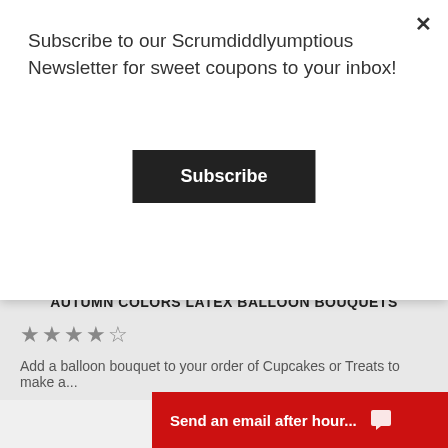Subscribe to our Scrumdiddlyumptious Newsletter for sweet coupons to your inbox!
Subscribe
[Figure (photo): Three autumn-colored latex balloons: orange-brown, gold/yellow, and dark burgundy/maroon, clustered together]
AUTUMN COLORS LATEX BALLOON BOUQUETS
★★★★★
Add a balloon bouquet to your order of Cupcakes or Treats to make a...
Send an email after hour...